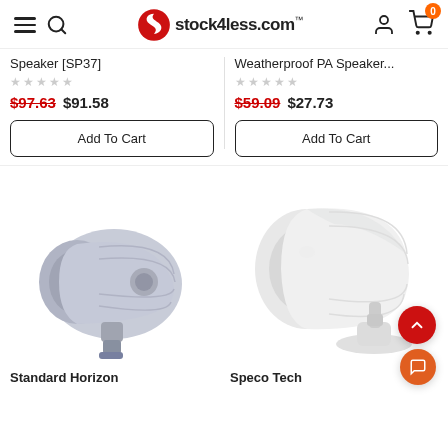stock4less.com
Speaker [SP37]
Weatherproof PA Speaker...
$97.63  $91.58
$59.09  $27.73
Add To Cart
Add To Cart
[Figure (photo): Small white/grey horn speaker (Standard Horizon brand) with mounting bracket]
[Figure (photo): White horn/trumpet speaker (Speco Tech brand) on a round base mount]
Standard Horizon
Speco Tech